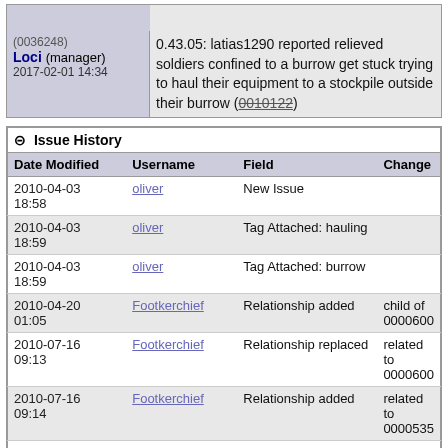| User | Comment |
| --- | --- |
|  |  |
| (0036248)
Loci (manager)
2017-02-01 14:34 | 0.43.05: latias1290 reported relieved soldiers confined to a burrow get stuck trying to haul their equipment to a stockpile outside their burrow (0010122) |
⊟ Issue History
| Date Modified | Username | Field | Change |
| --- | --- | --- | --- |
| 2010-04-03
18:58 | oliver | New Issue |  |
| 2010-04-03
18:59 | oliver | Tag Attached: hauling |  |
| 2010-04-03
18:59 | oliver | Tag Attached: burrow |  |
| 2010-04-20
01:05 | Footkerchief | Relationship added | child of 0000600 |
| 2010-07-16
09:13 | Footkerchief | Relationship replaced | related to 0000600 |
| 2010-07-16
09:14 | Footkerchief | Relationship added | related to 0000535 |
| 2010-12-19
09:35 | Footkerchief | Relationship added | related to 0003221 |
| 2011-02-28
21:43 | Footkerchief | Relationship added | related to 0001451 |